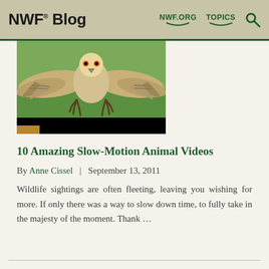NWF® Blog  NWF.ORG  TOPICS
[Figure (photo): Video thumbnail showing a bird of prey (osprey/owl) with wings spread, flying toward camera over green grass background, with black video control bar at bottom and gold/tan play button indicator.]
10 Amazing Slow-Motion Animal Videos
By Anne Cissel  |  September 13, 2011
Wildlife sightings are often fleeting, leaving you wishing for more. If only there was a way to slow down time, to fully take in the majesty of the moment. Thank ...